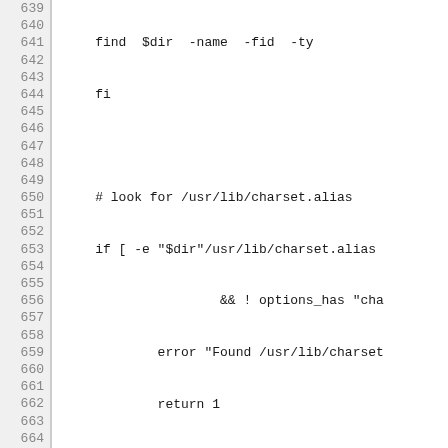[Figure (screenshot): Shell script source code with line numbers 639-669, showing bash code for checking charset.alias, directory permissions, suid root files, and suid bit on executables.]